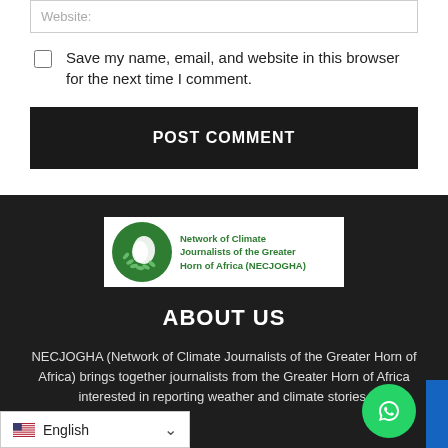Website:
Save my name, email, and website in this browser for the next time I comment.
POST COMMENT
[Figure (logo): NECJOGHA logo: circular green emblem with Africa map and leaves, text reads 'Network of Climate Journalists of the Greater Horn of Africa (NECJOGHA)']
ABOUT US
NECJOGHA (Network of Climate Journalists of the Greater Horn of Africa) brings together journalists from the Greater Horn of Africa interested in reporting weather and climate stories.
English